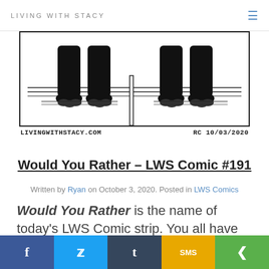LIVING WITH STACY
[Figure (illustration): Bottom portion of a comic strip showing two cartoon characters (feet/legs visible) standing on a floor, with horizontal lines suggesting a table or counter. Comic strip style black and white drawing. Caption below reads: LIVINGWITHSTACY.COM   RC 10/03/2020]
Would You Rather – LWS Comic #191
Written by Ryan on October 3, 2020. Posted in LWS Comics
Would You Rather is the name of today's LWS Comic strip. You all have heard the infamous "Would you rather" polls and online questionnaires. Some of them are simply mind bending. As we see in today's LWS gag, polls